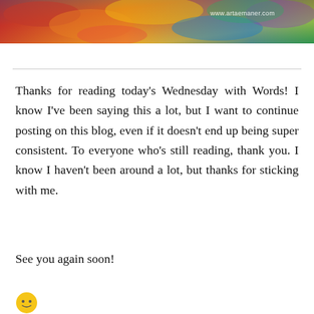[Figure (photo): Colorful abstract painting banner at top of page with watermark text 'www.artaemaner.com']
Thanks for reading today's Wednesday with Words! I know I've been saying this a lot, but I want to continue posting on this blog, even if it doesn't end up being super consistent. To everyone who's still reading, thank you. I know I haven't been around a lot, but thanks for sticking with me.
See you again soon!
[Figure (illustration): Yellow smiley face emoji]